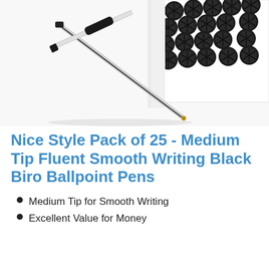[Figure (photo): Two black ballpoint pens (one disassembled showing refill and cap) on a white surface, with a box of black biro pens in the upper right corner showing the pen tips end-on.]
Nice Style Pack of 25 - Medium Tip Fluent Smooth Writing Black Biro Ballpoint Pens
Medium Tip for Smooth Writing
Excellent Value for Money